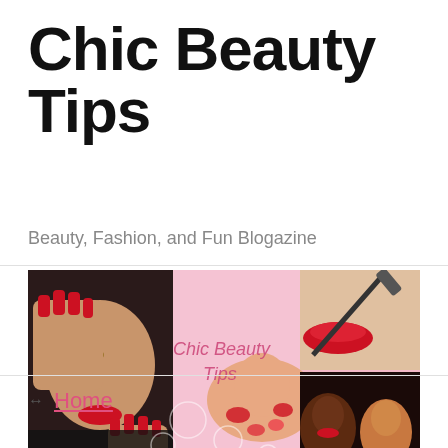Chic Beauty Tips
Beauty, Fashion, and Fun Blogazine
[Figure (photo): Banner collage for Chic Beauty Tips blog showing multiple women with makeup and red nails on a pink lace background with overlay text 'Chic Beauty Tips']
↔  Home